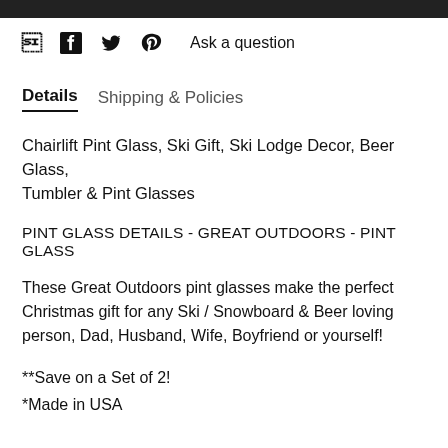f  🐦  📌  Ask a question
Details   Shipping & Policies
Chairlift Pint Glass, Ski Gift, Ski Lodge Decor, Beer Glass, Tumbler & Pint Glasses
PINT GLASS DETAILS - GREAT OUTDOORS - PINT GLASS
These Great Outdoors pint glasses make the perfect Christmas gift for any Ski / Snowboard & Beer loving person, Dad, Husband, Wife, Boyfriend or yourself!
**Save on a Set of 2!
*Made in USA